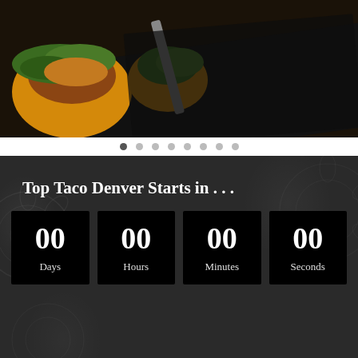[Figure (photo): Close-up photo of tacos with greens and toppings on a dark surface, shown as a carousel image with navigation dots below]
Top Taco Denver Starts in . . .
00 Days  00 Hours  00 Minutes  00 Seconds